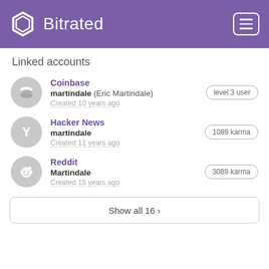Bitrated
Linked accounts
Coinbase
margindale (Eric Martindale)
Created 10 years ago
level 3 user
Hacker News
margindale
Created 11 years ago
1089 karma
Reddit
Martindale
Created 15 years ago
3089 karma
Show all 16 ›